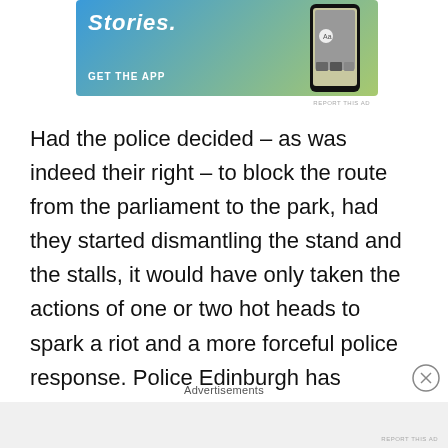[Figure (screenshot): App advertisement banner showing 'Stories.' text and 'GET THE APP' call to action with a phone mockup on a blue-to-yellow gradient background]
REPORT THIS AD
Had the police decided – as was indeed their right – to block the route from the parliament to the park, had they started dismantling the stand and the stalls, it would have only taken the actions of one or two hot heads to spark a riot and a more forceful police response. Police Edinburgh has already shown its support for the
Advertisements
REPORT THIS AD